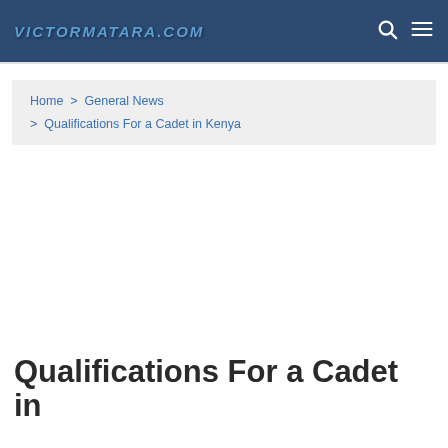VICTORMATARA.COM
Home  >  General News  >  Qualifications For a Cadet in Kenya
Qualifications For a Cadet in